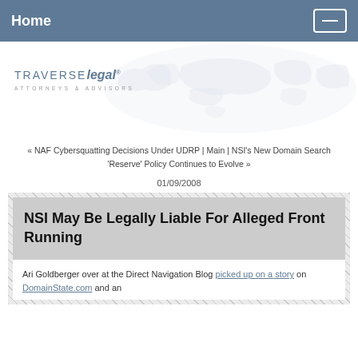Home
[Figure (logo): Traverse Legal Attorneys & Advisors logo with world map background]
« NAF Cybersquatting Decisions Under UDRP | Main | NSI's New Domain Search 'Reserve' Policy Continues to Evolve »
01/09/2008
NSI May Be Legally Liable For Alleged Front Running
Ari Goldberger over at the Direct Navigation Blog picked up on a story on DomainState.com and an